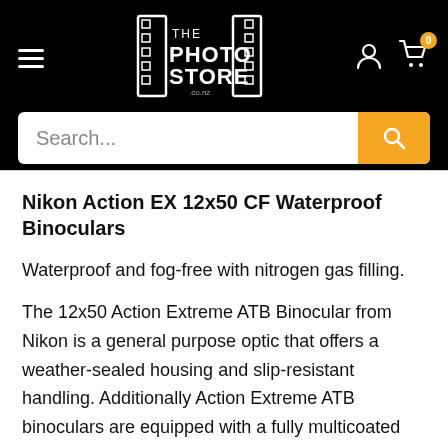The Photo Store — navigation header with search bar
Nikon Action EX 12x50 CF Waterproof Binoculars
Waterproof and fog-free with nitrogen gas filling.
The 12x50 Action Extreme ATB Binocular from Nikon is a general purpose optic that offers a weather-sealed housing and slip-resistant handling. Additionally Action Extreme ATB binoculars are equipped with a fully multicoated optical path that displays a 59.8 degrees